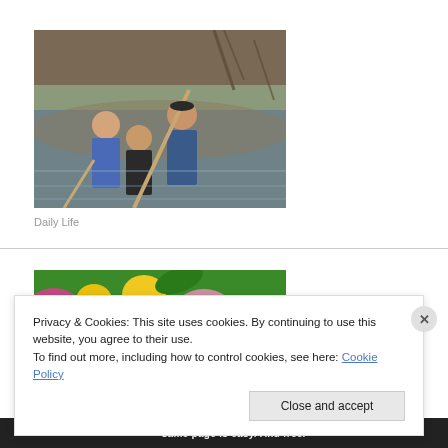[Figure (photo): Three people standing near a river or creek, one shirtless adult holding a long pole, two children nearby, natural outdoor setting with trees and water in background]
Daily Life
[Figure (photo): Close-up of pink and yellow flowers with green background, partially visible]
Privacy & Cookies: This site uses cookies. By continuing to use this website, you agree to their use.
To find out more, including how to control cookies, see here: Cookie Policy
Close and accept
same page is easy. And free.